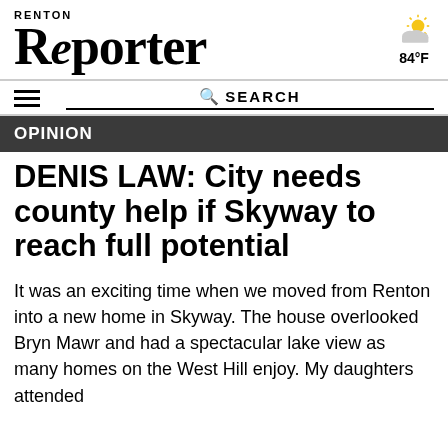RENTON REPORTER
[Figure (illustration): Partly sunny weather icon with sun and clouds]
84°F
OPINION
DENIS LAW: City needs county help if Skyway to reach full potential
It was an exciting time when we moved from Renton into a new home in Skyway. The house overlooked Bryn Mawr and had a spectacular lake view as many homes on the West Hill enjoy. My daughters attended